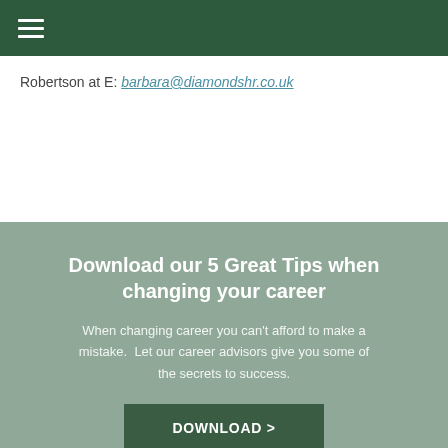≡
Robertson at E: barbara@diamondshr.co.uk
Download our 5 Great Tips when changing your career
When changing career you can't afford to make a mistake.  Let our career advisors give you some of the secrets to success.
DOWNLOAD >